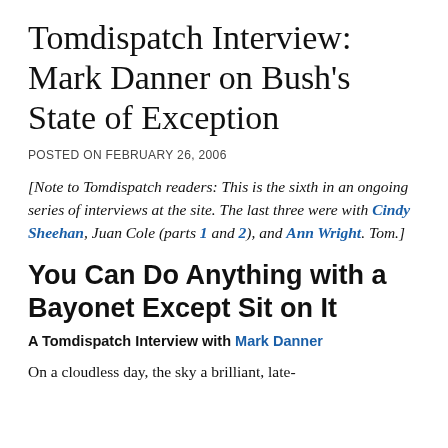Tomdispatch Interview: Mark Danner on Bush's State of Exception
POSTED ON FEBRUARY 26, 2006
[Note to Tomdispatch readers: This is the sixth in an ongoing series of interviews at the site. The last three were with Cindy Sheehan, Juan Cole (parts 1 and 2), and Ann Wright. Tom.]
You Can Do Anything with a Bayonet Except Sit on It
A Tomdispatch Interview with Mark Danner
On a cloudless day, the sky a brilliant, late-